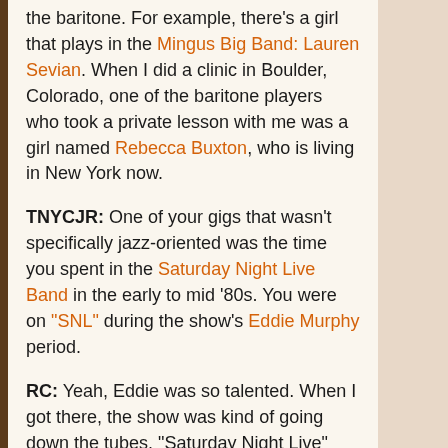the baritone. For example, there's a girl that plays in the Mingus Big Band: Lauren Sevian. When I did a clinic in Boulder, Colorado, one of the baritone players who took a private lesson with me was a girl named Rebecca Buxton, who is living in New York now.
TNYCJR: One of your gigs that wasn't specifically jazz-oriented was the time you spent in the Saturday Night Live Band in the early to mid '80s. You were on "SNL" during the show's Eddie Murphy period.
RC: Yeah, Eddie was so talented. When I got there, the show was kind of going down the tubes. "Saturday Night Live" wasn't getting very good ratings and NBC was about to cancel it. Then they brought in another producer, Dick Ebersol, who hired Eddie Murphy and Joe Piscopo. After a few weeks went by, the ratings started coming up again.